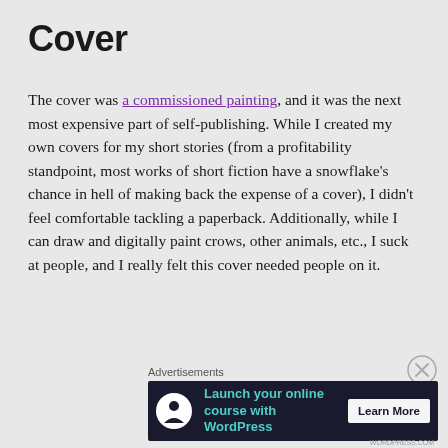Cover
The cover was a commissioned painting, and it was the next most expensive part of self-publishing. While I created my own covers for my short stories (from a profitability standpoint, most works of short fiction have a snowflake’s chance in hell of making back the expense of a cover), I didn’t feel comfortable tackling a paperback. Additionally, while I can draw and digitally paint crows, other animals, etc., I suck at people, and I really felt this cover needed people on it.
Advertisements
[Figure (other): Dark-themed advertisement banner for WordPress online course hosting. Shows a white circular icon with a person/tree symbol, teal text 'Launch your online course with WordPress', and a 'Learn More' button.]